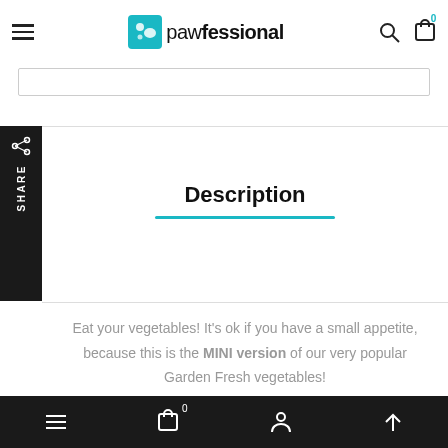pawfessional — navigation header with logo, search, cart
[Figure (screenshot): Search bar input field]
[Figure (screenshot): Share sidebar with icon and SHARE text, black background]
Description
Eat your vegetables! It's ok if you have a small appetite, because this is the MINI version of our very popular Garden Fresh vegetables!
Meet the Garden Fresh Squeakies! They will make the most
Bottom navigation bar with menu, cart (0), profile, and scroll-up icons